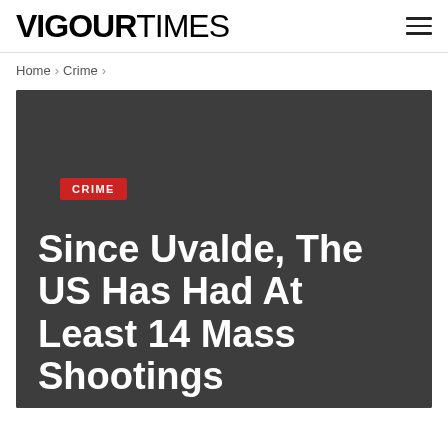VIGOURTIMES
Home > Crime >
CRIME
Since Uvalde, The US Has Had At Least 14 Mass Shootings